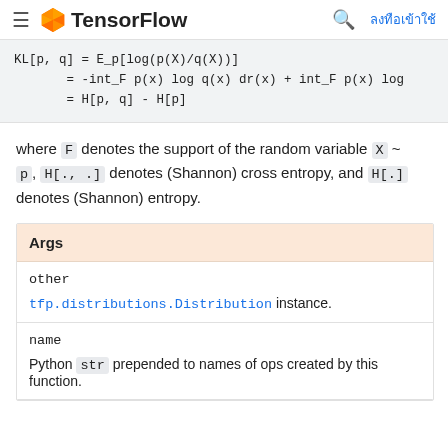TensorFlow
where F denotes the support of the random variable X ~ p, H[., .] denotes (Shannon) cross entropy, and H[.] denotes (Shannon) entropy.
| Args |
| --- |
| other | tfp.distributions.Distribution instance. |
| name | Python str prepended to names of ops created by this function. |